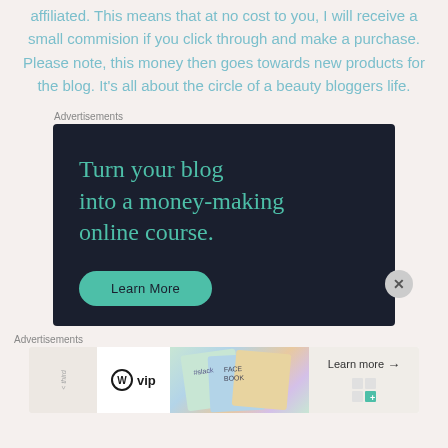affiliated. This means that at no cost to you, I will receive a small commision if you click through and make a purchase. Please note, this money then goes towards new products for the blog. It's all about the circle of a beauty bloggers life.
Advertisements
[Figure (infographic): Dark navy advertisement banner: 'Turn your blog into a money-making online course.' with a teal 'Learn More' button]
Advertisements
[Figure (infographic): Bottom advertisement bar with WordPress VIP logo, colorful card images, and 'Learn more' button]